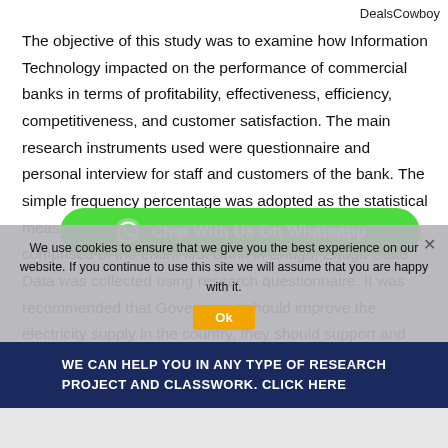DealsCowboy
The objective of this study was to examine how Information Technology impacted on the performance of commercial banks in terms of profitability, effectiveness, efficiency, competitiveness, and customer satisfaction. The main research instruments used were questionnaire and personal interview for staff and customers of the bank. The simple frequency percentage was adopted as the statistical measure and hypothesis testing. Population of the study comprised of the entire first Bank in Enugu, Enugu State. Data was collected using research questionnaire. It was recommended that Government should improve the electricity supply in the country, they should support and loan money to local IT firms to foster importation, lower tariff on importation of information technology related
[Figure (other): Green 'Chat With Us On Whatsapp' button overlay with WhatsApp icon]
We use cookies to ensure that we give you the best experience on our website. If you continue to use this site we will assume that you are happy with it.
WE CAN HELP YOU IN ANY TYPE OF RESEARCH PROJECT AND CLASSWORK. CLICK HERE